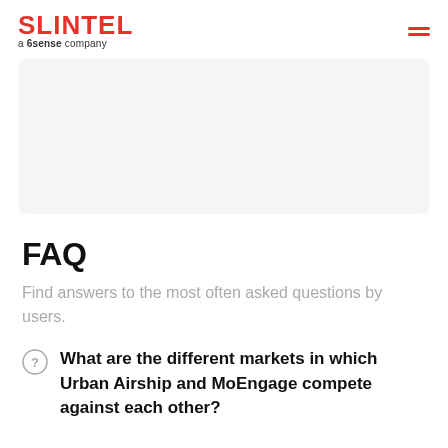SLINTEL a 6sense company
[Figure (other): Gray placeholder/content box]
FAQ
Find answers to the most often asked questions by users.
What are the different markets in which Urban Airship and MoEngage compete against each other?